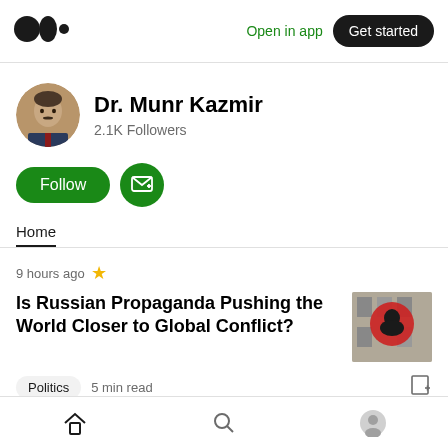Medium logo | Open in app | Get started
[Figure (photo): Medium logo (three black circles)]
Dr. Munr Kazmir
2.1K Followers
Follow | Subscribe button
Home
9 hours ago
Is Russian Propaganda Pushing the World Closer to Global Conflict?
Politics  5 min read
Home | Search | Profile